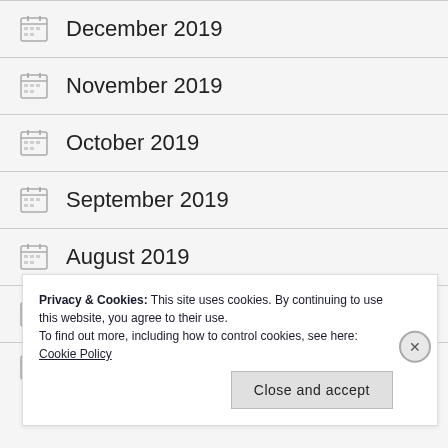December 2019
November 2019
October 2019
September 2019
August 2019
July 2019
Privacy & Cookies: This site uses cookies. By continuing to use this website, you agree to their use. To find out more, including how to control cookies, see here: Cookie Policy
Close and accept